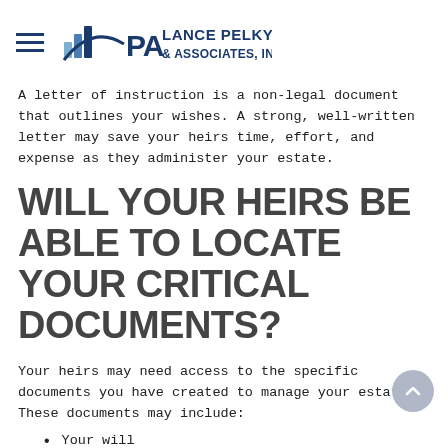Lance Pelky & Associates, Inc.
A letter of instruction is a non-legal document that outlines your wishes. A strong, well-written letter may save your heirs time, effort, and expense as they administer your estate.
WILL YOUR HEIRS BE ABLE TO LOCATE YOUR CRITICAL DOCUMENTS?
Your heirs may need access to the specific documents you have created to manage your estate. These documents may include:
Your will